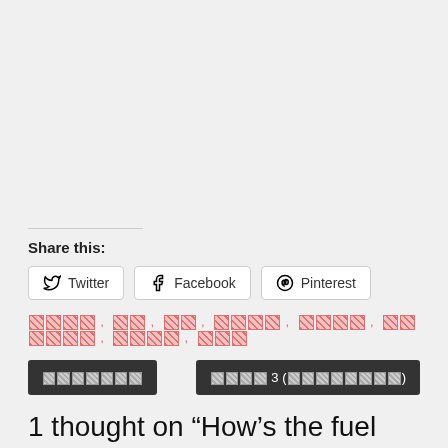Share this:
Twitter  Facebook  Pinterest
[tags in non-Latin script]
[navigation buttons with non-Latin script]
1 thought on “How’s the fuel price in [...]